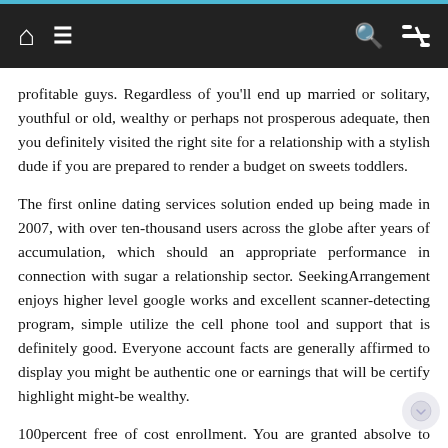Navigation bar with home, menu, search, and shuffle icons
profitable guys. Regardless of you'll end up married or solitary, youthful or old, wealthy or perhaps not prosperous adequate, then you definitely visited the right site for a relationship with a stylish dude if you are prepared to render a budget on sweets toddlers.
The first online dating services solution ended up being made in 2007, with over ten-thousand users across the globe after years of accumulation, which should an appropriate performance in connection with sugar a relationship sector. SeekingArrangement enjoys higher level google works and excellent scanner-detecting program, simple utilize the cell phone tool and support that is definitely good. Everyone account facts are generally affirmed to display you might be authentic one or earnings that will be certify highlight might-be wealthy.
100percent free of cost enrollment. You are granted absolve to join in the sugary foods dad online dating services tool in...